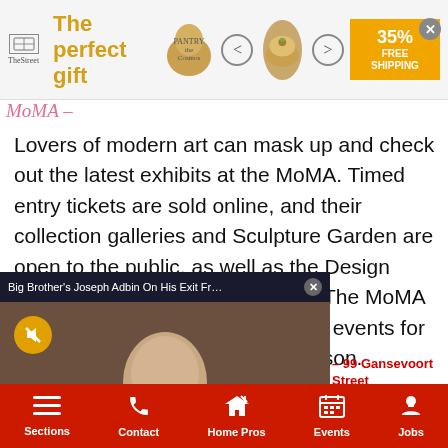[Figure (screenshot): Banner advertisement showing 'The perfect gift' with a product image and '35% FREE SHIPPING' offer with navigation arrows]
MoMA –
Lovers of modern art can mask up and check out the latest exhibits at the MoMA. Timed entry tickets are sold online, and their collection galleries and Sculpture Garden are open to the public, as well as the Design Store and the museum gift shop. The MoMA is also hosting a number of virtual events for those who don't want to go in-person.
[Figure (screenshot): Video popup overlay showing 'Big Brother's Joseph Adbin On His Exit Fr...' with an X close button. Shows a young man speaking on camera with a mute button and Entertainment watermark.]
99 Gansevoort Street
a variety of exhibits with diverse backgrounds. If you're uncomfortable going in-person, the
Sections  Contact  Home Pros  Events  Jobs